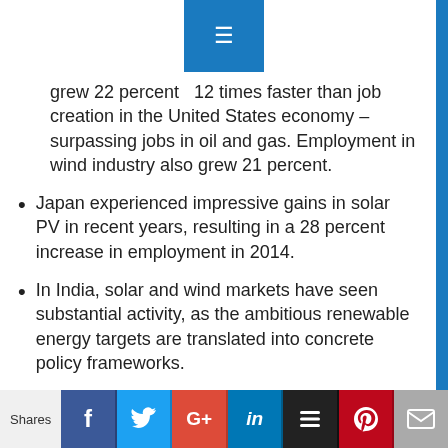grew 22 percent — 12 times faster than job creation in the United States economy – surpassing jobs in oil and gas. Employment in wind industry also grew 21 percent.
Japan experienced impressive gains in solar PV in recent years, resulting in a 28 percent increase in employment in 2014.
In India, solar and wind markets have seen substantial activity, as the ambitious renewable energy targets are translated into concrete policy frameworks.
Africa has also seen many interesting developments leading to job creation, including solar and wind development in Egypt, Morocco, Kenya and South Africa.
Shares | Facebook | Twitter | Google+ | LinkedIn | Buffer | Pinterest | Email